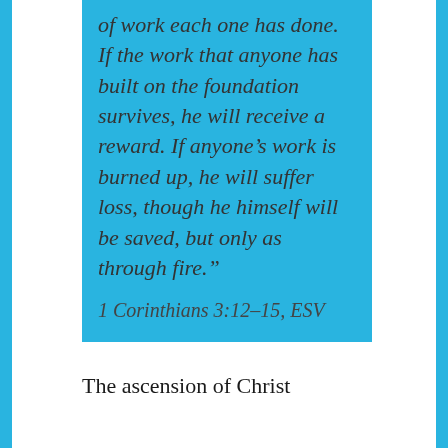of work each one has done. If the work that anyone has built on the foundation survives, he will receive a reward. If anyone's work is burned up, he will suffer loss, though he himself will be saved, but only as through fire."
1 Corinthians 3:12–15, ESV
The ascension of Christ